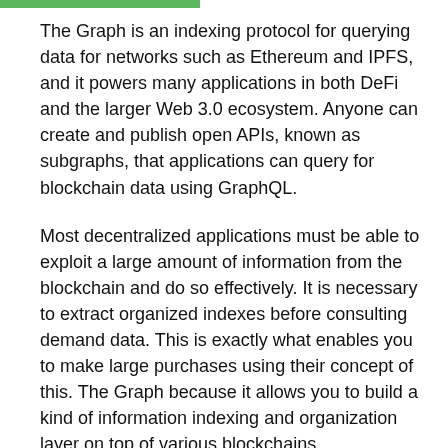The Graph is an indexing protocol for querying data for networks such as Ethereum and IPFS, and it powers many applications in both DeFi and the larger Web 3.0 ecosystem. Anyone can create and publish open APIs, known as subgraphs, that applications can query for blockchain data using GraphQL.
Most decentralized applications must be able to exploit a large amount of information from the blockchain and do so effectively. It is necessary to extract organized indexes before consulting demand data. This is exactly what enables you to make large purchases using their concept of this. The Graph because it allows you to build a kind of information indexing and organization layer on top of various blockchains.
The Graph will continue to grow exponentially in the